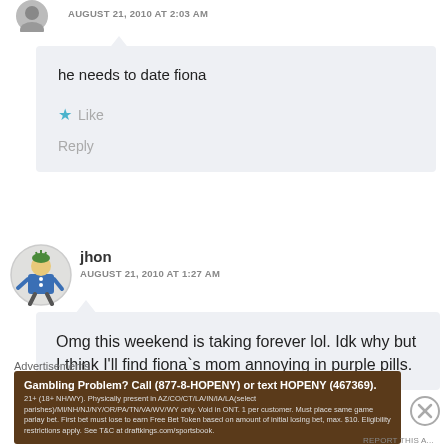AUGUST 21, 2010 AT 2:03 AM
he needs to date fiona
Like
Reply
jhon
AUGUST 21, 2010 AT 1:27 AM
Omg this weekend is taking forever lol. Idk why but I think I'll find fiona`s mom annoying in purple pills.
Advertisements
Gambling Problem? Call (877-8-HOPENY) or text HOPENY (467369). 21+ (18+ NH/WY). Physically present in AZ/CO/CT/LA/IN/IA/LA(select parishes)/MI/NH/NJ/NY/OR/PA/TN/VA/WV/WY only. Void in ONT. 1 per customer. Must place same game parlay bet. First bet must lose to earn Free Bet Token based on amount of initial losing bet, max. $10. Eligibility restrictions apply. See T&C at draftkings.com/sportsbook.